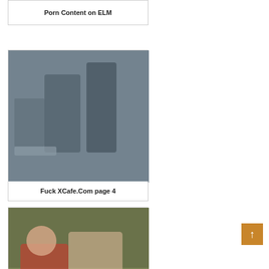Porn Content on ELM
[Figure (photo): Two people embracing in a bathroom setting]
Fuck XCafe.Com page 4
[Figure (photo): Adult content image outdoors]
Sport sex nude porn girl boys image. Athletic sport girl engaged.
[Figure (photo): Partial image of person, cropped at bottom of page]